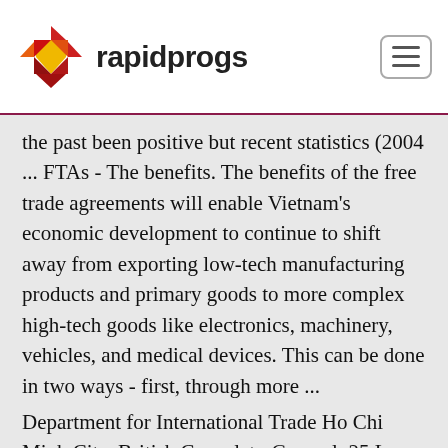rapidprogs
the past been positive but recent statistics (2004 ... FTAs - The benefits. The benefits of the free trade agreements will enable Vietnam's economic development to continue to shift away from exporting low-tech manufacturing products and primary goods to more complex high-tech goods like electronics, machinery, vehicles, and medical devices. This can be done in two ways - first, through more ...
Department for International Trade Ho Chi Minh City. British Consulate-General. 25 Le Duan Street. District 1. Ho Chi Minh City. Vietnam. Email.